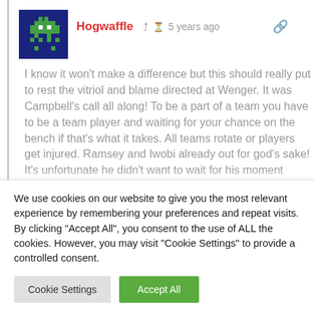[Figure (illustration): Pixel art avatar of a green space invader character on dark blue background]
Hogwaffle  5 years ago
I know it won't make a difference but this should really put to rest the vitriol and blame directed at Wenger. It was Campbell's call all along! To be a part of a team you have to be a team player and waiting for your chance on the bench if that's what it takes. All teams rotate or players get injured. Ramsey and Iwobi already out for god's sake! It's unfortunate he didn't want to wait for his moment
We use cookies on our website to give you the most relevant experience by remembering your preferences and repeat visits. By clicking "Accept All", you consent to the use of ALL the cookies. However, you may visit "Cookie Settings" to provide a controlled consent.